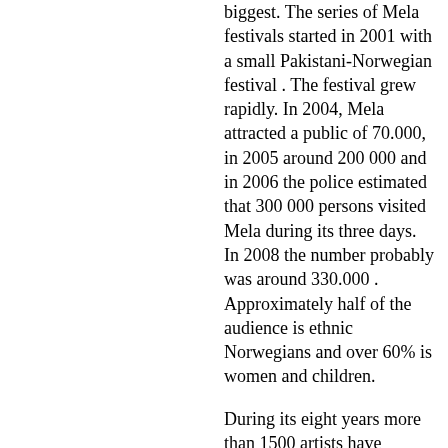biggest. The series of Mela festivals started in 2001 with a small Pakistani-Norwegian festival . The festival grew rapidly. In 2004, Mela attracted a public of 70.000, in 2005 around 200 000 and in 2006 the police estimated that 300 000 persons visited Mela during its three days. In 2008 the number probably was around 330.000 . Approximately half of the audience is ethnic Norwegians and over 60% is women and children.
During its eight years more than 1500 artists have performed at the Oslo Mela – among them international artists such as Miriam Makeba, Abida Parveen, Apache Indian, Arif Lohar, Aster Aweke, Atif Aslam, RDB, Maryam Mursal, Naheed Siddiqi, Ustad Fateh Ali Khan and Storae Nation